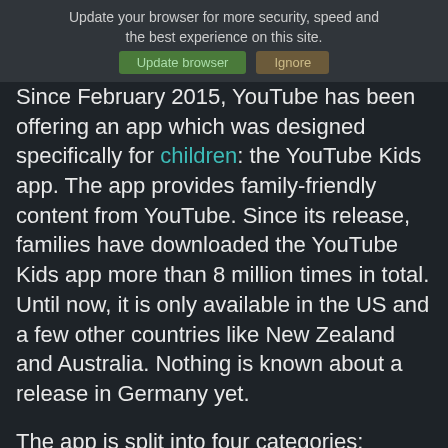[Figure (screenshot): Browser update notification banner overlaid on webpage, with 'Update your browser for more security, speed and the best experience on this site.' text and two buttons: 'Update browser' (green) and 'Ignore' (brown/tan)]
Since February 2015, YouTube has been offering an app which was designed specifically for children: the YouTube Kids app. The app provides family-friendly content from YouTube. Since its release, families have downloaded the YouTube Kids app more than 8 million times in total. Until now, it is only available in the US and a few other countries like New Zealand and Australia. Nothing is known about a release in Germany yet.
The app is split into four categories: Shows, Music, Learning and Explore. As to the content, Google works together with partners such as the YouTube Channels of National Geographic Kids, DreamWorksTV or TuTiTu. In order for parents to monitor the use of videos of their children, Google has implemented several control functions. For example, by using a timer, they can control how long the YouTube Kids app can be used. Additionally,